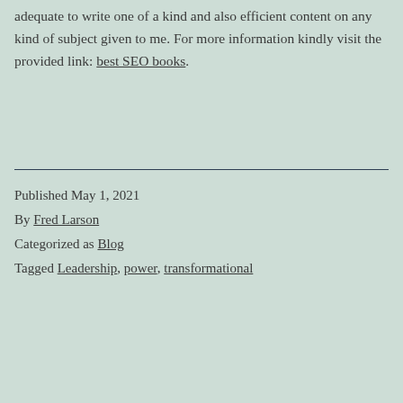adequate to write one of a kind and also efficient content on any kind of subject given to me. For more information kindly visit the provided link: best SEO books.
Published May 1, 2021
By Fred Larson
Categorized as Blog
Tagged Leadership, power, transformational